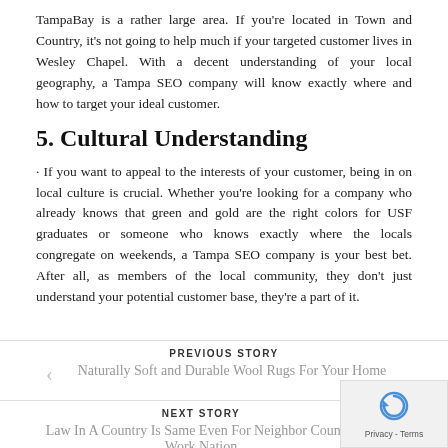TampaBay is a rather large area. If you're located in Town and Country, it's not going to help much if your targeted customer lives in Wesley Chapel. With a decent understanding of your local geography, a Tampa SEO company will know exactly where and how to target your ideal customer.
5. Cultural Understanding
· If you want to appeal to the interests of your customer, being in on local culture is crucial. Whether you're looking for a company who already knows that green and gold are the right colors for USF graduates or someone who knows exactly where the locals congregate on weekends, a Tampa SEO company is your best bet. After all, as members of the local community, they don't just understand your potential customer base, they're a part of it.
PREVIOUS STORY
Naturally Soft and Durable Wool Rugs For Your Home
NEXT STORY
Law In A Country Is Same Even For Neighbor Country Work Nation